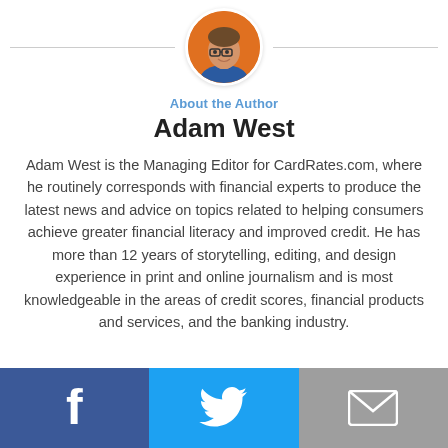[Figure (photo): Circular headshot photo of Adam West, a man with glasses wearing a blue shirt, against an orange background]
About the Author
Adam West
Adam West is the Managing Editor for CardRates.com, where he routinely corresponds with financial experts to produce the latest news and advice on topics related to helping consumers achieve greater financial literacy and improved credit. He has more than 12 years of storytelling, editing, and design experience in print and online journalism and is most knowledgeable in the areas of credit scores, financial products and services, and the banking industry.
[Figure (infographic): Footer bar with three social media icon buttons: Facebook (blue), Twitter (light blue), and Email (gray)]